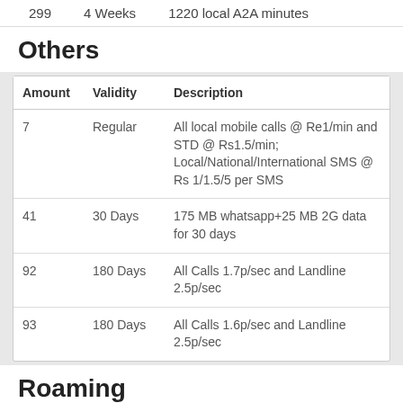299    4 Weeks    1220 local A2A minutes
Others
| Amount | Validity | Description |
| --- | --- | --- |
| 7 | Regular | All local mobile calls @ Re1/min and STD @ Rs1.5/min; Local/National/International SMS @ Rs 1/1.5/5 per SMS |
| 41 | 30 Days | 175 MB whatsapp+25 MB 2G data for 30 days |
| 92 | 180 Days | All Calls 1.7p/sec and Landline 2.5p/sec |
| 93 | 180 Days | All Calls 1.6p/sec and Landline 2.5p/sec |
Roaming
| Amount | Validity | Description |
| --- | --- | --- |
| 4 | 1 Day | Incoming roaming free, all... |